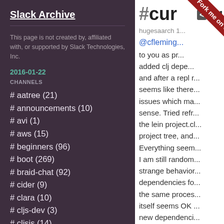Slack Archive
This page is not created by, affiliated with, or supported by Slack Technologies, Inc.
2016-01-22
CHANNELS
# aatree (21)
# announcements (10)
# avi (1)
# aws (15)
# beginners (96)
# boot (269)
# braid-chat (92)
# cider (9)
# clara (10)
# cljs-dev (3)
# cljsjs (14)
[Figure (other): Fork me on GitHub diagonal ribbon banner in red]
#cur... < 201... hugesaarch 1... @cfleming... to you as pr... added clj depe... and after a repl r... seems like there... issues which ma... sense. Tried refr... the lein project.cl... project tree, and... Everything seem... I am still random... strange behavior... dependencies fo... the same proces... itself seems OK ... new dependenci... so I know it's not... mistake in projec... Cursive is not se... change. Cursive ... resolve/autocom... anything until a r... intellij. Anyway, I...